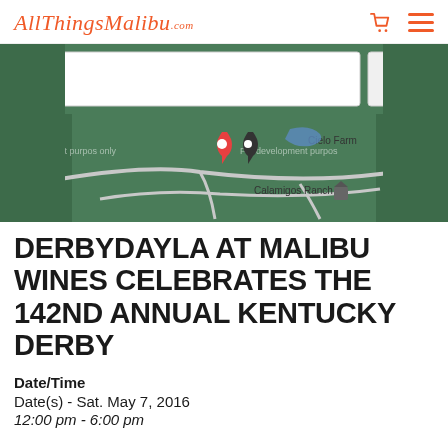AllThingsMalibu.com
[Figure (map): Google Maps screenshot showing Calamigos Ranch and Cielo Farms area in Malibu, with map pins and road overlays on a dark green terrain background]
DERBYDAYLA AT MALIBU WINES CELEBRATES THE 142ND ANNUAL KENTUCKY DERBY
Date/Time
Date(s) - Sat. May 7, 2016
12:00 pm - 6:00 pm